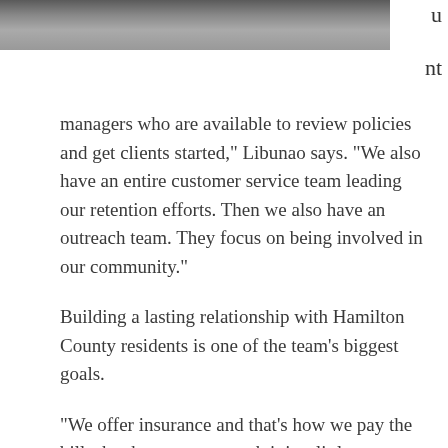[Figure (photo): Partial photo strip at top of page showing people standing, cropped]
u

nt
managers who are available to review policies and get clients started,” Libunao says. “We also have an entire customer service team leading our retention efforts. Then we also have an outreach team. They focus on being involved in our community.”
Building a lasting relationship with Hamilton County residents is one of the team’s biggest goals.
“We offer insurance and that’s how we pay the bills, but how we approach it is a little different,” Libunao says. “We try to approach it by grassroots involvement. We eat where you eat. We shop where you shop. We’re donating where you’re donating. The more you get to know us and have that relationship, the more likely you’ll be to use us in the future.